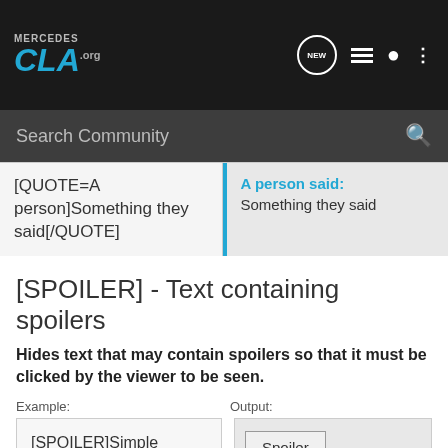Mercedes CLA .org — NEW navigation header with search
[QUOTE=A person]Something they said[/QUOTE]
A person said:
Something they said
[SPOILER] - Text containing spoilers
Hides text that may contain spoilers so that it must be clicked by the viewer to be seen.
Example:
Output:
[SPOILER]Simple spoiler[/SPOILER]
[SPOILER=Spoiler Title]Spoiler with a title[/SPOILER]
Spoiler
Spoiler: Spoiler Title